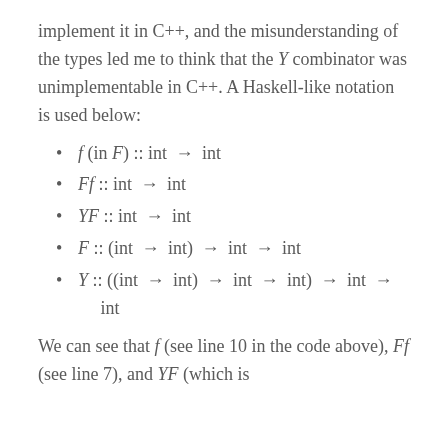implement it in C++, and the misunderstanding of the types led me to think that the Y combinator was unimplementable in C++. A Haskell-like notation is used below:
f (in F) :: int → int
Ff :: int → int
YF :: int → int
F :: (int → int) → int → int
Y :: ((int → int) → int → int) → int → int
We can see that f (see line 10 in the code above), Ff (see line 7), and YF (which is